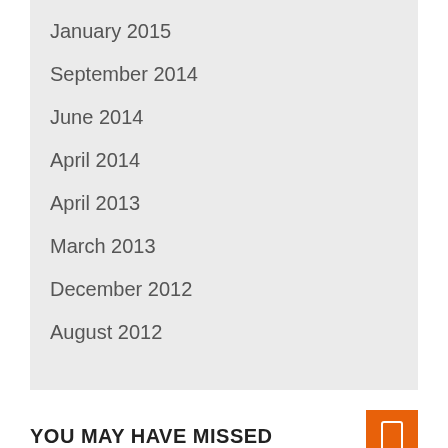January 2015
September 2014
June 2014
April 2014
April 2013
March 2013
December 2012
August 2012
YOU MAY HAVE MISSED